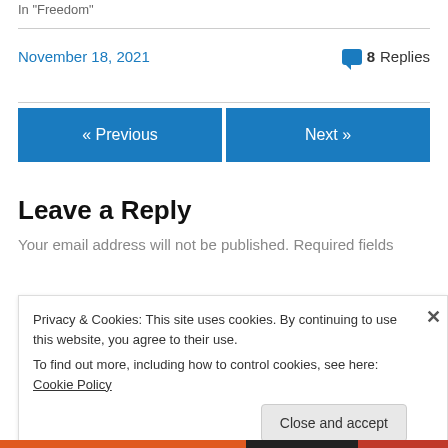In "Freedom"
November 18, 2021   💬 8 Replies
« Previous
Next »
Leave a Reply
Your email address will not be published. Required fields
Privacy & Cookies: This site uses cookies. By continuing to use this website, you agree to their use.
To find out more, including how to control cookies, see here: Cookie Policy
Close and accept